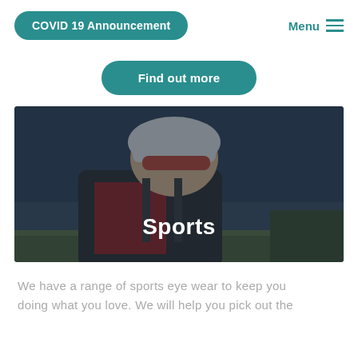COVID 19 Announcement
Find out more
[Figure (photo): A smiling man wearing a cycling helmet, sunglasses, and a backpack with the word 'Sports' overlaid in white text]
We have a range of sports eye wear to keep you doing what you love. We will help you pick out the